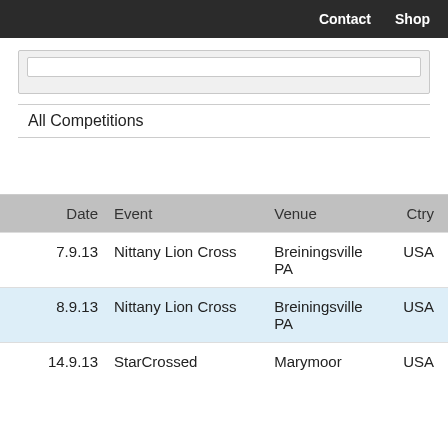Contact  Shop
All Competitions
| Date | Event | Venue | Ctry |
| --- | --- | --- | --- |
| 7.9.13 | Nittany Lion Cross | Breiningsville PA | USA |
| 8.9.13 | Nittany Lion Cross | Breiningsville PA | USA |
| 14.9.13 | StarCrossed | Marymoor | USA |